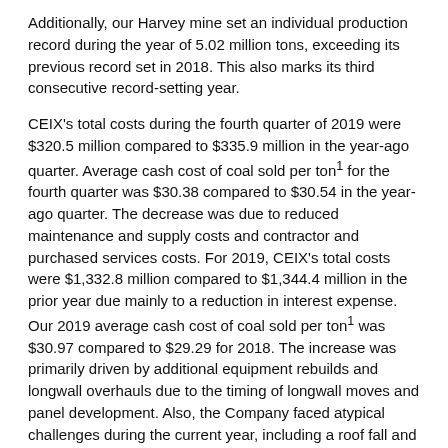Additionally, our Harvey mine set an individual production record during the year of 5.02 million tons, exceeding its previous record set in 2018. This also marks its third consecutive record-setting year.
CEIX's total costs during the fourth quarter of 2019 were $320.5 million compared to $335.9 million in the year-ago quarter. Average cash cost of coal sold per ton¹ for the fourth quarter was $30.38 compared to $30.54 in the year-ago quarter. The decrease was due to reduced maintenance and supply costs and contractor and purchased services costs. For 2019, CEIX's total costs were $1,332.8 million compared to $1,344.4 million in the prior year due mainly to a reduction in interest expense. Our 2019 average cash cost of coal sold per ton¹ was $30.97 compared to $29.29 for 2018. The increase was primarily driven by additional equipment rebuilds and longwall overhauls due to the timing of longwall moves and panel development. Also, the Company faced atypical challenges during the current year, including a roof fall and equipment breakdowns, resulting in higher mine maintenance